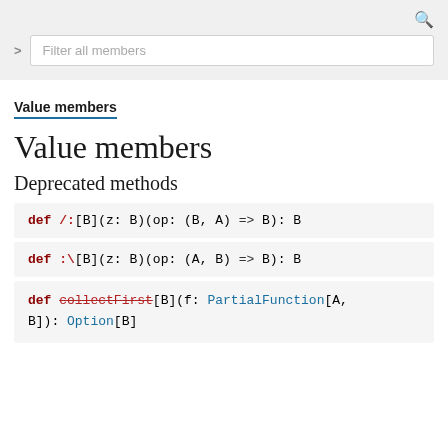[Figure (screenshot): Search bar UI with filter input field and search icon]
Value members
Value members
Deprecated methods
def /:[B](z: B)(op: (B, A) => B): B
def :\[B](z: B)(op: (A, B) => B): B
def collectFirst[B](f: PartialFunction[A, B]): Option[B]